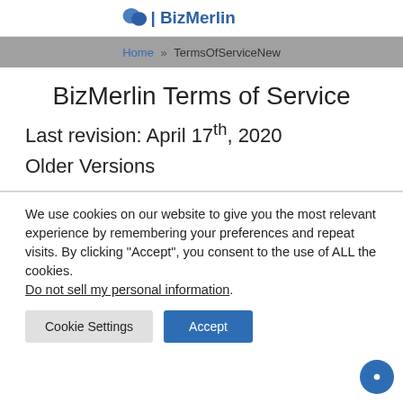[Figure (logo): BizMerlin logo with blue icon and text]
Home » TermsOfServiceNew
BizMerlin Terms of Service
Last revision: April 17th, 2020
Older Versions
We use cookies on our website to give you the most relevant experience by remembering your preferences and repeat visits. By clicking “Accept”, you consent to the use of ALL the cookies. Do not sell my personal information.
Cookie Settings   Accept